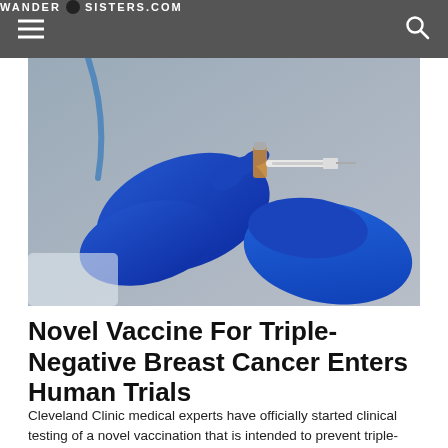WANDER SISTERS.COM
[Figure (photo): Hands in blue medical gloves handling a syringe and vial in a clinical setting]
Novel Vaccine For Triple-Negative Breast Cancer Enters Human Trials
Cleveland Clinic medical experts have officially started clinical testing of a novel vaccination that is intended to prevent triple-negative breast cancer.